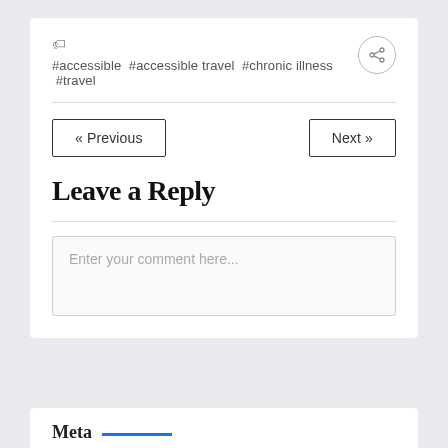#accessible #accessible travel #chronic illness #travel
« Previous
Next »
Leave a Reply
Enter your comment here...
Meta